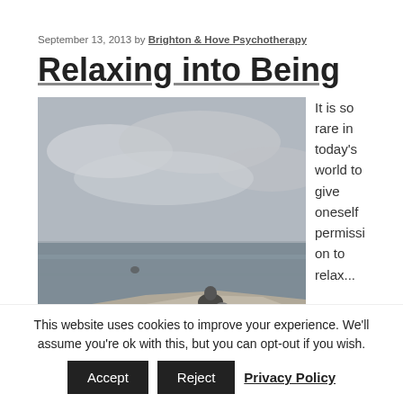September 13, 2013 by Brighton & Hove Psychotherapy
Relaxing into Being
[Figure (photo): A person sitting on a large rock outcrop overlooking a grey sea under a cloudy sky, viewed from behind.]
It is so rare in today's world to give oneself permission to relax...
This website uses cookies to improve your experience. We'll assume you're ok with this, but you can opt-out if you wish. Accept Reject Privacy Policy